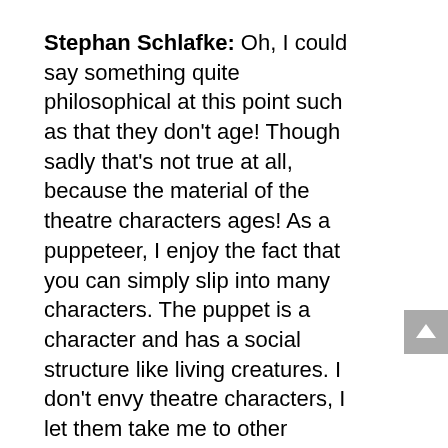Stephan Schlafke: Oh, I could say something quite philosophical at this point such as that they don't age! Though sadly that's not true at all, because the material of the theatre characters ages! As a puppeteer, I enjoy the fact that you can simply slip into many characters. The puppet is a character and has a social structure like living creatures. I don't envy theatre characters, I let them take me to other places!
Theatre is a bit like magic
That's the great symbiosis between player and character: that the appearance of the character can be wrought through one's skill to build up